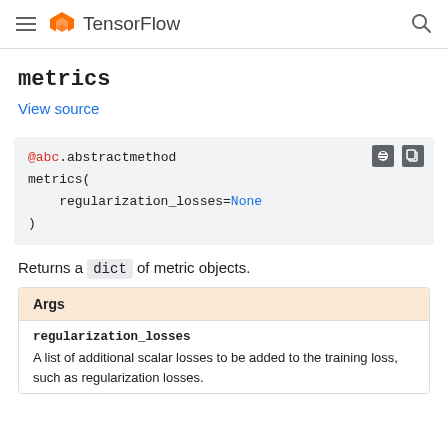TensorFlow
metrics
View source
@abc.abstractmethod
metrics(
    regularization_losses=None
)
Returns a dict of metric objects.
| Args |
| --- |
| regularization_losses | A list of additional scalar losses to be added to the training loss, such as regularization losses. |